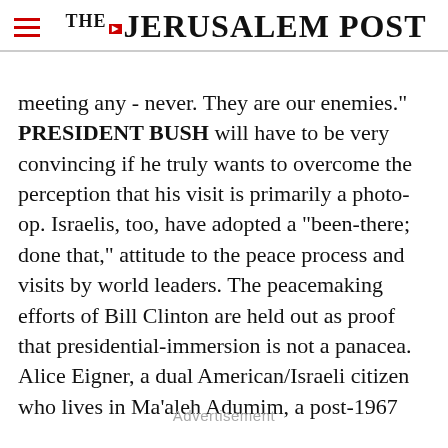THE JERUSALEM POST
meeting any - never. They are our enemies." PRESIDENT BUSH will have to be very convincing if he truly wants to overcome the perception that his visit is primarily a photo-op. Israelis, too, have adopted a "been-there; done that," attitude to the peace process and visits by world leaders. The peacemaking efforts of Bill Clinton are held out as proof that presidential-immersion is not a panacea. Alice Eigner, a dual American/Israeli citizen who lives in Ma'aleh Adumim, a post-1967
Advertisement